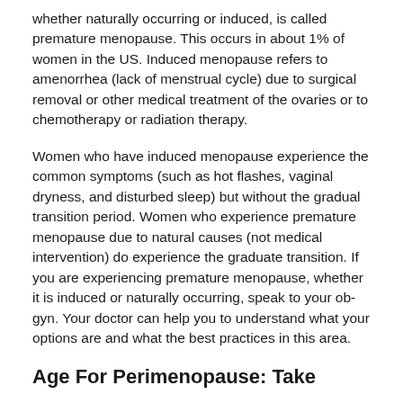whether naturally occurring or induced, is called premature menopause. This occurs in about 1% of women in the US. Induced menopause refers to amenorrhea (lack of menstrual cycle) due to surgical removal or other medical treatment of the ovaries or to chemotherapy or radiation therapy.
Women who have induced menopause experience the common symptoms (such as hot flashes, vaginal dryness, and disturbed sleep) but without the gradual transition period. Women who experience premature menopause due to natural causes (not medical intervention) do experience the graduate transition. If you are experiencing premature menopause, whether it is induced or naturally occurring, speak to your ob-gyn. Your doctor can help you to understand what your options are and what the best practices in this area.
Age For Perimenopause: Take